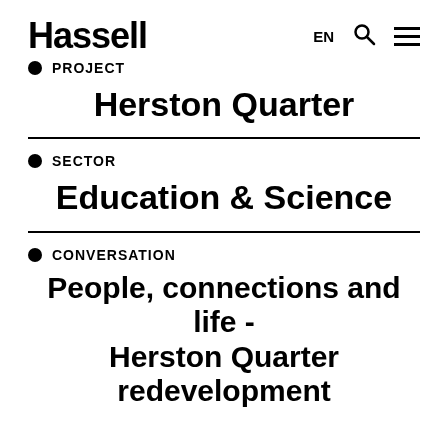Hassell
PROJECT
Herston Quarter
SECTOR
Education & Science
CONVERSATION
People, connections and life - Herston Quarter redevelopment